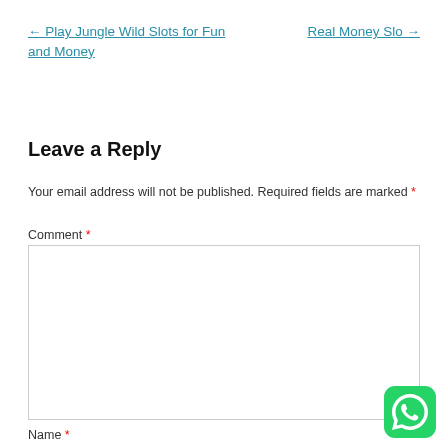← Play Jungle Wild Slots for Fun and Money
Real Money Slo →
Leave a Reply
Your email address will not be published. Required fields are marked *
Comment *
Name *